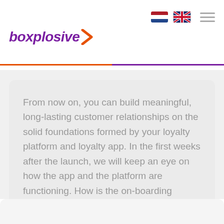[Figure (logo): Boxplosive logo with purple italic text and orange arrow icon]
From now on, you can build meaningful, long-lasting customer relationships on the solid foundations formed by your loyalty platform and loyalty app. In the first weeks after the launch, we will keep an eye on how the app and the platform are functioning. How is the on-boarding going? Are people signing up?